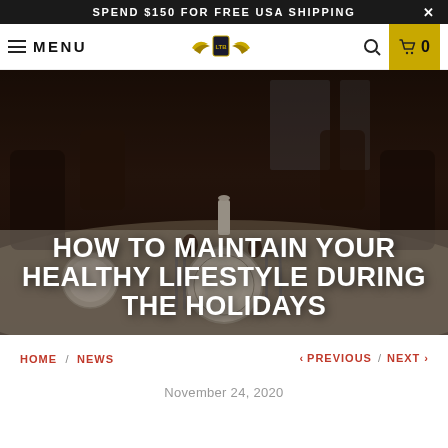SPEND $150 FOR FREE USA SHIPPING
MENU
[Figure (photo): Holiday dinner table set with plates, cutlery, candles and decorations, dark moody lighting]
HOW TO MAINTAIN YOUR HEALTHY LIFESTYLE DURING THE HOLIDAYS
HOME / NEWS   < PREVIOUS / NEXT >
November 24, 2020